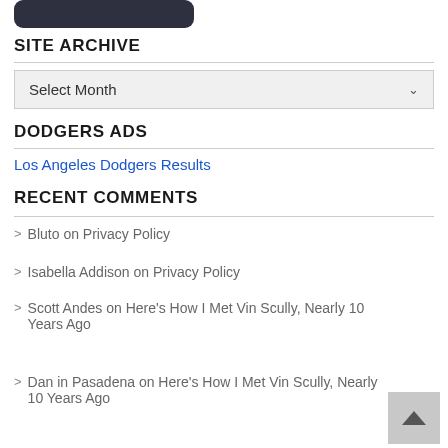[Figure (other): Dark rounded button/logo at top]
SITE ARCHIVE
Select Month
DODGERS ADS
Los Angeles Dodgers Results
RECENT COMMENTS
Bluto on Privacy Policy
Isabella Addison on Privacy Policy
Scott Andes on Here's How I Met Vin Scully, Nearly 10 Years Ago
Dan in Pasadena on Here's How I Met Vin Scully, Nearly 10 Years Ago